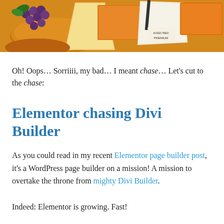[Figure (photo): Assorted cheeses including orange, yellow, and white varieties with grapes in the background]
Oh! Oops… Sorriiii, my bad… I meant chase… Let's cut to the chase:
Elementor chasing Divi Builder
As you could read in my recent Elementor page builder post, it's a WordPress page builder on a mission! A mission to overtake the throne from mighty Divi Builder.
Indeed: Elementor is growing. Fast!